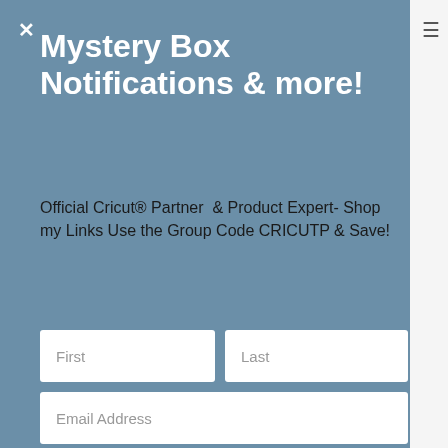Mystery Box Notifications & more!
Official Cricut® Partner  & Product Expert- Shop my Links Use the Group Code CRICUTP & Save!
[Figure (screenshot): Email subscription form with First name, Last name, Email Address input fields and a Subscribe button, overlaid on a website page. The modal has a steel-blue background with a close (×) button.]